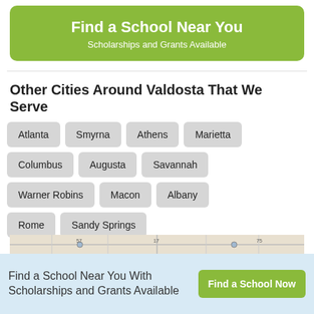[Figure (infographic): Green banner with text 'Find a School Near You' and subtitle 'Scholarships and Grants Available']
Other Cities Around Valdosta That We Serve
Atlanta
Smyrna
Athens
Marietta
Columbus
Augusta
Savannah
Warner Robins
Macon
Albany
Rome
Sandy Springs
[Figure (map): Street map strip showing Valdosta area]
Find a School Near You With Scholarships and Grants Available
Find a School Now